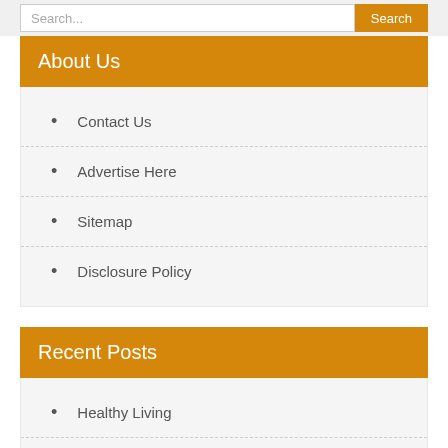Search...
About Us
Contact Us
Advertise Here
Sitemap
Disclosure Policy
Recent Posts
Healthy Living
What Is The Nature Of The Healthcare Business?